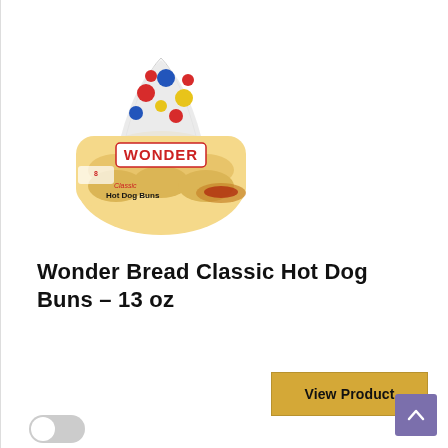[Figure (photo): Wonder Bread Classic Hot Dog Buns product packaging photo — a bag of 8 hot dog buns with colorful polka-dot wrap and Wonder logo]
Wonder Bread Classic Hot Dog Buns – 13 oz
View Product